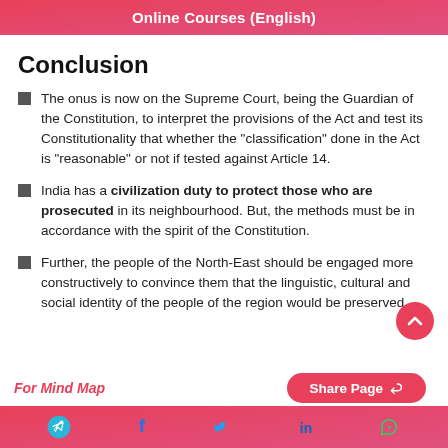Online Courses (English)
Conclusion
The onus is now on the Supreme Court, being the Guardian of the Constitution, to interpret the provisions of the Act and test its Constitutionality that whether the "classification" done in the Act is "reasonable" or not if tested against Article 14.
India has a civilization duty to protect those who are prosecuted in its neighbourhood. But, the methods must be in accordance with the spirit of the Constitution.
Further, the people of the North-East should be engaged more constructively to convince them that the linguistic, cultural and social identity of the people of the region would be preserved.
For Mind Map   Share Page